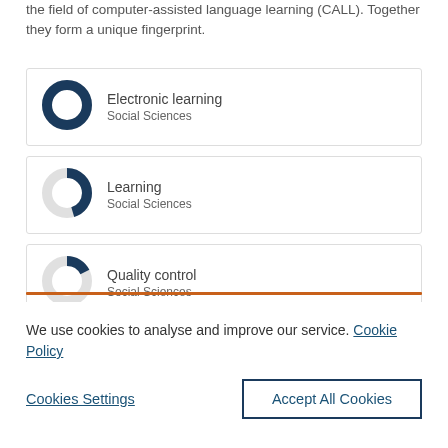the field of computer-assisted language learning (CALL). Together they form a unique fingerprint.
[Figure (donut-chart): Donut chart approximately 100% filled in dark navy blue, labeled 'Electronic learning / Social Sciences']
[Figure (donut-chart): Donut chart approximately 45% filled in dark navy blue, labeled 'Learning / Social Sciences']
[Figure (donut-chart): Donut chart approximately 20% filled in dark navy blue, labeled 'Quality control / Social Sciences']
We use cookies to analyse and improve our service. Cookie Policy
Cookies Settings
Accept All Cookies